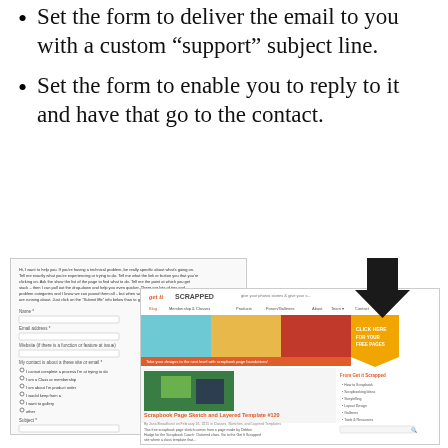Set the form to deliver the email to you with a custom “support” subject line.
Set the form to enable you to reply to it and have that go to the contact.
[Figure (screenshot): Two overlapping screenshots: left shows a web contact/support form with fields and checkboxes; right (overlapping, with a downward black arrow above) shows the Get It Scrapped website homepage with navigation bar, a scrapbook banner ad with 'CLICK HERE FOR YOUR FREE PAGES' button, and a blog post about 'Scrapbook Page Sketch and Layered Template #120'.]